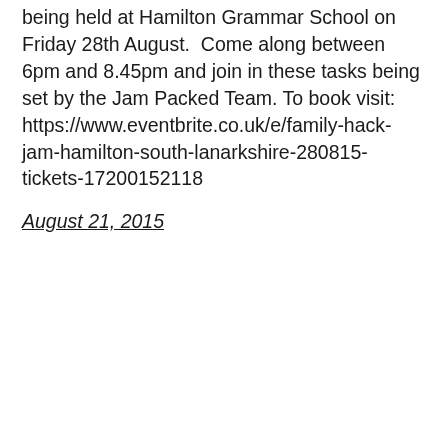being held at Hamilton Grammar School on Friday 28th August.  Come along between 6pm and 8.45pm and join in these tasks being set by the Jam Packed Team. To book visit: https://www.eventbrite.co.uk/e/family-hack-jam-hamilton-south-lanarkshire-280815-tickets-17200152118
August 21, 2015